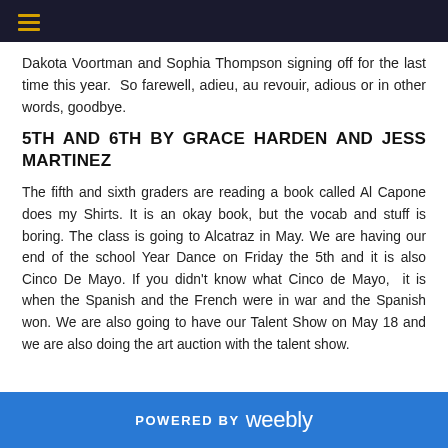Dakota Voortman and Sophia Thompson signing off for the last time this year.  So farewell, adieu, au revouir, adious or in other words, goodbye.
5TH AND 6TH BY GRACE HARDEN AND JESS MARTINEZ
The fifth and sixth graders are reading a book called Al Capone does my Shirts. It is an okay book, but the vocab and stuff is boring. The class is going to Alcatraz in May. We are having our end of the school Year Dance on Friday the 5th and it is also Cinco De Mayo. If you didn't know what Cinco de Mayo,  it is when the Spanish and the French were in war and the Spanish won. We are also going to have our Talent Show on May 18 and we are also doing the art auction with the talent show.
POWERED BY weebly